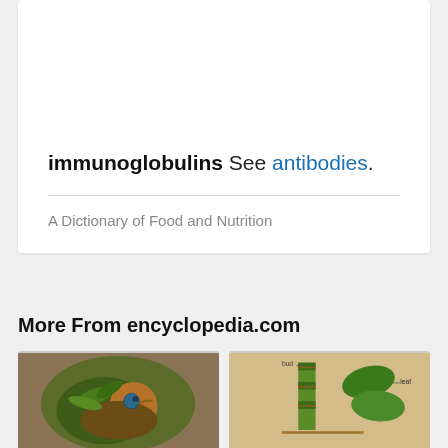immunoglobulins See antibodies.
A Dictionary of Food and Nutrition
More From encyclopedia.com
[Figure (photo): Close-up photo of a bird (appears to be a pheasant or similar colorful bird) with green, brown, and blue-teal colored plumage]
[Figure (illustration): Botanical illustration showing a plant stem with labels including 'bud', 'leaf', and 'crown' on a light beige background]